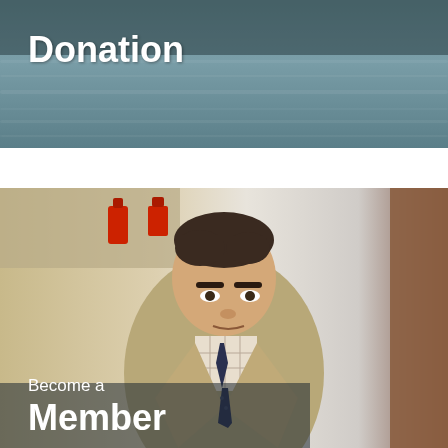[Figure (photo): Top portion of page showing a water scene with the word 'Donation' overlaid in bold white text]
[Figure (photo): Portrait photo of an older man in a tan/khaki suit jacket, checkered shirt, and dark tie, speaking or presenting in an indoor setting. Text overlay reads 'Become a Member']